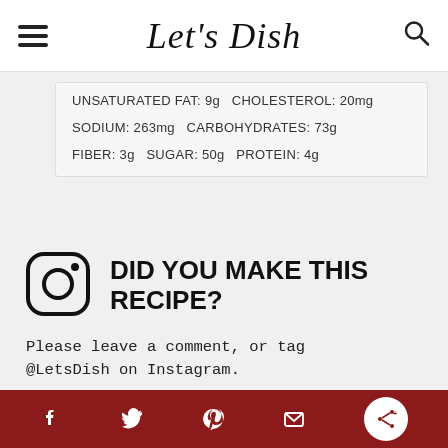Let's Dish
UNSATURATED FAT: 9g  CHOLESTEROL: 20mg
SODIUM: 263mg  CARBOHYDRATES: 73g
FIBER: 3g  SUGAR: 50g  PROTEIN: 4g
[Figure (logo): Instagram camera icon (rounded square with circle and dot)]
DID YOU MAKE THIS RECIPE?
Please leave a comment, or tag @LetsDish on Instagram.
© Danelle
CUISINE: American /
Social share bar with Facebook, Twitter, Pinterest, Email icons